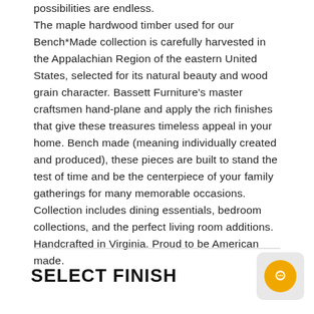possibilities are endless. The maple hardwood timber used for our Bench*Made collection is carefully harvested in the Appalachian Region of the eastern United States, selected for its natural beauty and wood grain character. Bassett Furniture's master craftsmen hand-plane and apply the rich finishes that give these treasures timeless appeal in your home. Bench made (meaning individually created and produced), these pieces are built to stand the test of time and be the centerpiece of your family gatherings for many memorable occasions. Collection includes dining essentials, bedroom collections, and the perfect living room additions. Handcrafted in Virginia. Proud to be American made.
SELECT FINISH